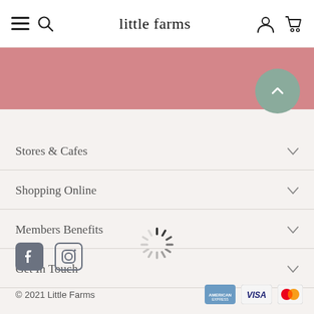little farms
[Figure (screenshot): Pink banner section at top of page content area]
Stores & Cafes
Shopping Online
Members Benefits
Get In Touch
[Figure (infographic): Social media icons: Facebook and Instagram]
© 2021 Little Farms